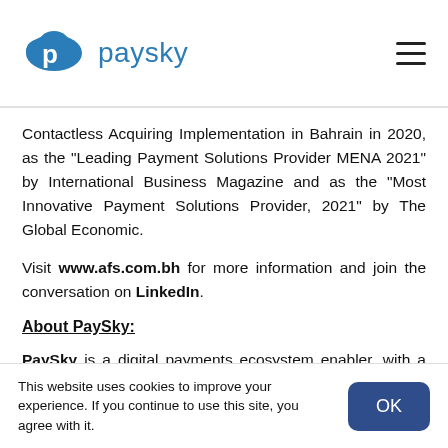paysky
Contactless Acquiring Implementation in Bahrain in 2020, as the “Leading Payment Solutions Provider MENA 2021” by International Business Magazine and as the “Most Innovative Payment Solutions Provider, 2021” by The Global Economic.
Visit www.afs.com.bh for more information and join the conversation on LinkedIn.
About PaySky:
PaySky is a digital payments ecosystem enabler, with a mission of “Democratizing e-payments” PaySky
This website uses cookies to improve your experience. If you continue to use this site, you agree with it.